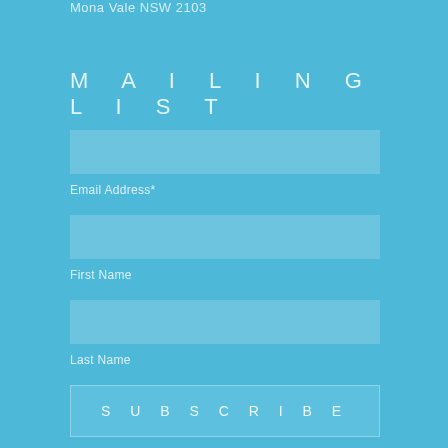Mona Vale NSW 2103
MAILING LIST
Email Address*
First Name
Last Name
SUBSCRIBE